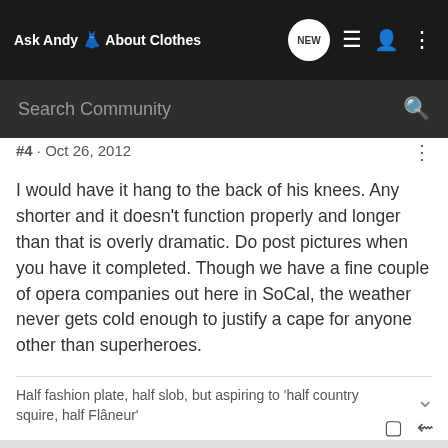Ask Andy About Clothes
Search Community
#4 · Oct 26, 2012
I would have it hang to the back of his knees. Any shorter and it doesn't function properly and longer than that is overly dramatic. Do post pictures when you have it completed. Though we have a fine couple of opera companies out here in SoCal, the weather never gets cold enough to justify a cape for anyone other than superheroes.
Half fashion plate, half slob, but aspiring to 'half country squire, half Flâneur'